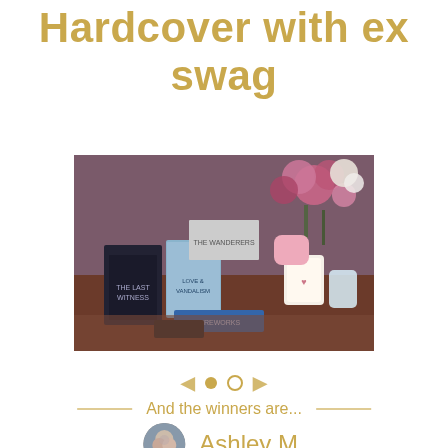Hardcover with ex swag
[Figure (photo): Photo of a collection of books and giveaway items including hardcover books, candles, and decorative items, with pink flowers in the background on a wooden surface.]
And the winners are...
Ashley M.